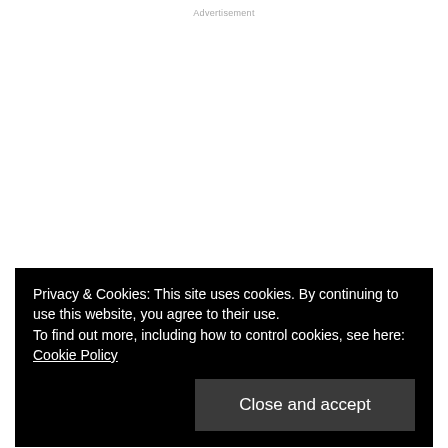Advertisement
Privacy & Cookies: This site uses cookies. By continuing to use this website, you agree to their use.
To find out more, including how to control cookies, see here: Cookie Policy
Close and accept
to dawn a hot dog suit.